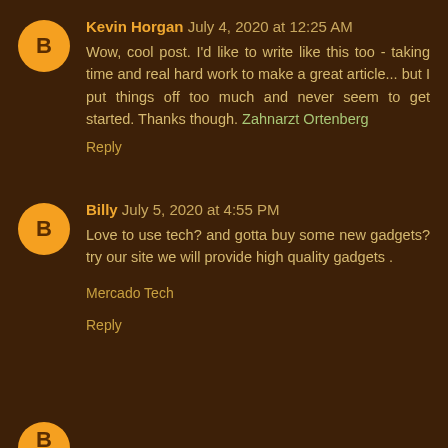Kevin Horgan July 4, 2020 at 12:25 AM
Wow, cool post. I'd like to write like this too - taking time and real hard work to make a great article... but I put things off too much and never seem to get started. Thanks though. Zahnarzt Ortenberg
Reply
Billy July 5, 2020 at 4:55 PM
Love to use tech? and gotta buy some new gadgets? try our site we will provide high quality gadgets .
Mercado Tech
Reply